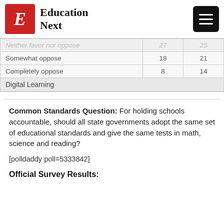Education Next
|  |  |  |
| --- | --- | --- |
| Neither favor nor oppose | 27 | 25 |
| Somewhat oppose | 18 | 21 |
| Completely oppose | 8 | 14 |
Digital Learning
Common Standards Question: For holding schools accountable, should all state governments adopt the same set of educational standards and give the same tests in math, science and reading?
[polldaddy poll=5333842]
Official Survey Results: